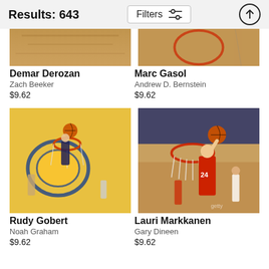Results: 643
[Figure (photo): Partially cropped basketball photo - Demar Derozan]
Demar Derozan
Zach Beeker
$9.62
[Figure (photo): Partially cropped basketball photo - Marc Gasol]
Marc Gasol
Andrew D. Bernstein
$9.62
[Figure (photo): Basketball photo of Rudy Gobert dunking, aerial view, Golden State Warriors court]
Rudy Gobert
Noah Graham
$9.62
[Figure (photo): Basketball photo of Lauri Markkanen #24 in Bulls red uniform going for a layup]
Lauri Markkanen
Gary Dineen
$9.62